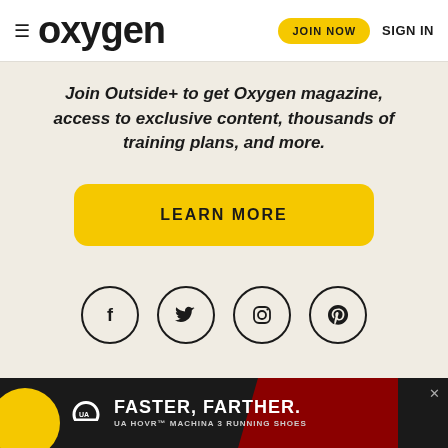≡ oxygen  JOIN NOW  SIGN IN
Join Outside+ to get Oxygen magazine, access to exclusive content, thousands of training plans, and more.
LEARN MORE
[Figure (illustration): Social media icons in circles: Facebook, Twitter, Instagram, Pinterest]
[Figure (illustration): Under Armour advertisement banner: FASTER, FARTHER. UA HOVR™ MACHINA 3 RUNNING SHOES with shoe image]